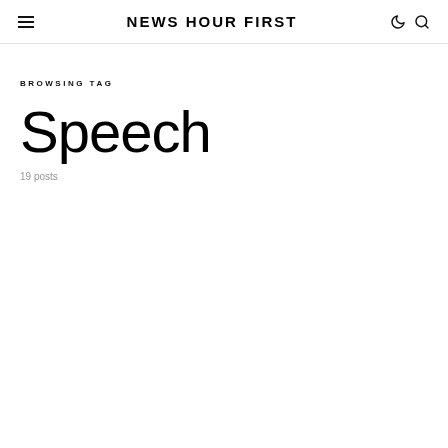NEWS HOUR FIRST
BROWSING TAG
Speech
19 posts